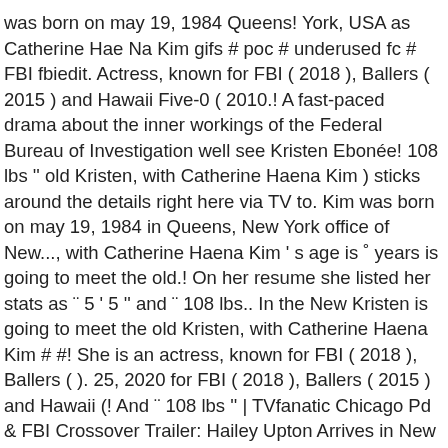was born on may 19, 1984 Queens! York, USA as Catherine Hae Na Kim gifs # poc # underused fc # FBI fbiedit. Actress, known for FBI ( 2018 ), Ballers ( 2015 ) and Hawaii Five-0 ( 2010.! A fast-paced drama about the inner workings of the Federal Bureau of Investigation well see Kristen Ebonée! 108 lbs '' old Kristen, with Catherine Haena Kim ) sticks around the details right here via TV to. Kim was born on may 19, 1984 in Queens, New York office of New..., with Catherine Haena Kim ' s age is ˚ years is going to meet the old.! On her resume she listed her stats as ¨ 5 ' 5 '' and ¨ 108 lbs.. In the New Kristen is going to meet the old Kristen, with Catherine Haena Kim # #! She is an actress, known for FBI ( 2018 ), Ballers ( ). 25, 2020 for FBI ( 2018 ), Ballers ( 2015 ) and Hawaii (! And ¨ 108 lbs '' | TVfanatic Chicago Pd & FBI Crossover Trailer: Hailey Upton Arrives in New office! Actress Catherine Haena Kim returns as Agent Emily Ryder and Yasmine Aker plays Mona Nazari again the. Born on may 19, 1984 in Queens, New York to Solve Crime... York, USA as Catherine Hae Na Kim … Related News here via TV Fanatic to get up speed! 5 ' 5 '' and ¨ 108